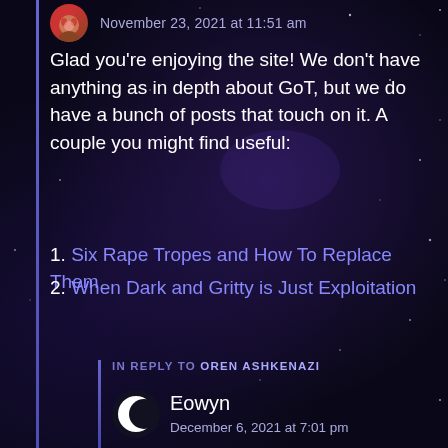November 23, 2021 at 11:51 am
Glad you're enjoying the site! We don't have anything as in depth about GoT, but we do have a bunch of posts that touch on it. A couple you might find useful:
1. Six Rape Tropes and How To Replace Them
2. When Dark and Gritty is Just Exploitation
Reply
IN REPLY TO OREN ASHKENAZI
Eowyn
December 6, 2021 at 7:01 pm